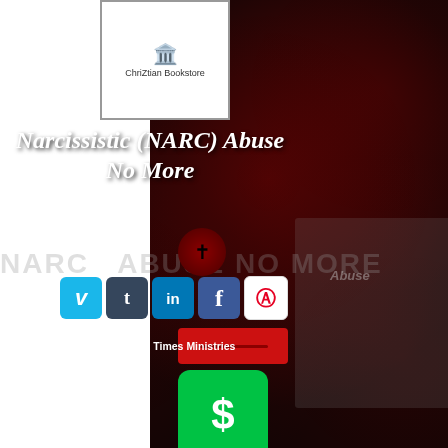[Figure (logo): ChriZtian Bookstore logo with cross/building icon in white box]
Narcissistic (NARC) Abuse No More
[Figure (illustration): Heart with cross icon, social media icons (Vimeo, Tumblr, LinkedIn, Facebook, Pinterest), red button, and Cash App green dollar button]
Write to: IT Iz FINISHED End Times Ministries
2577 Fayetteville Rd
Griffin, Ga 30223
Call: 678-939-4913